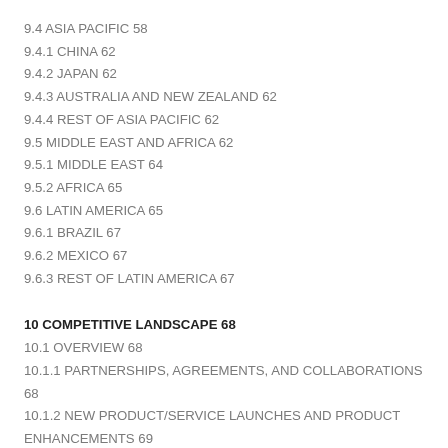9.4 ASIA PACIFIC 58
9.4.1 CHINA 62
9.4.2 JAPAN 62
9.4.3 AUSTRALIA AND NEW ZEALAND 62
9.4.4 REST OF ASIA PACIFIC 62
9.5 MIDDLE EAST AND AFRICA 62
9.5.1 MIDDLE EAST 64
9.5.2 AFRICA 65
9.6 LATIN AMERICA 65
9.6.1 BRAZIL 67
9.6.2 MEXICO 67
9.6.3 REST OF LATIN AMERICA 67
10 COMPETITIVE LANDSCAPE 68
10.1 OVERVIEW 68
10.1.1 PARTNERSHIPS, AGREEMENTS, AND COLLABORATIONS 68
10.1.2 NEW PRODUCT/SERVICE LAUNCHES AND PRODUCT ENHANCEMENTS 69
10.1.3 MERGERS AND ACQUISITIONS 69